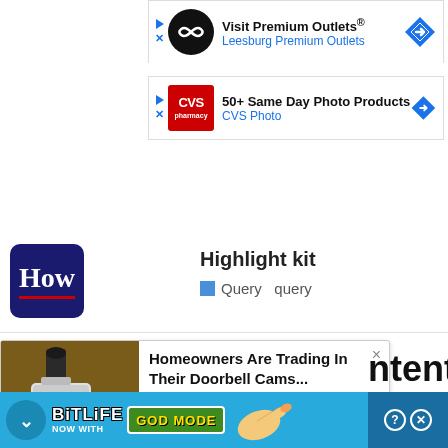[Figure (other): Google ad for Visit Premium Outlets - Leesburg Premium Outlets with infinity logo and blue navigation arrow]
[Figure (other): Google ad for CVS Photo - 50+ Same Day Photo Products with CVS pharmacy logo and blue navigation arrow]
Highlight kit
Query  query
[Figure (other): Security camera advertisement popup - Homeowners Are Trading In Their Doorbell Cams... by Camerca | Sponsored, with image of security camera on wall]
hlights
[Figure (other): BitLife advertisement banner - NOW WITH GOD MODE]
For light
For cool
ntents